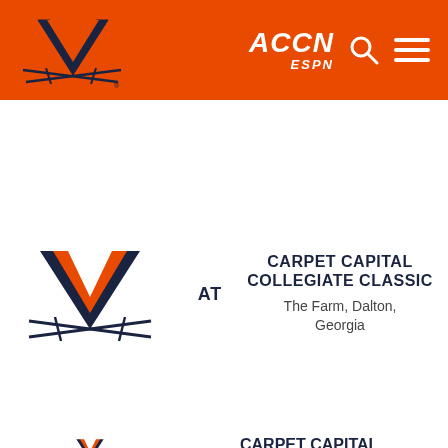[Figure (logo): University of Virginia logo - orange header bar with UVA sabers V mark on left, ACCN ESPN logo, search icon, and hamburger menu on right]
MEN'S GOLF   TEAM   COACHES   SCHEDULE   STATS   NEWS
FRI OCT 5   TBA
AT   CARPET CAPITAL COLLEGIATE CLASSIC   The Farm, Dalton, Georgia
FRI OCT 5   TBA
CARPET CAPITAL